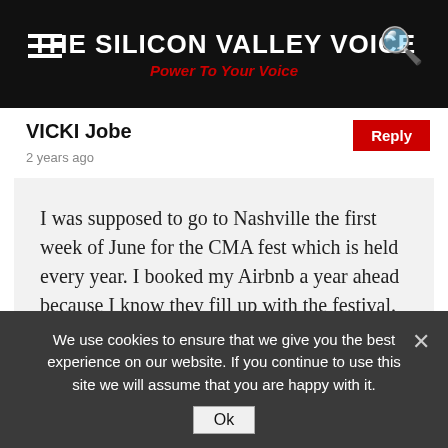THE SILICON VALLEY VOICE — Power To Your Voice
VICKI Jobe
2 years ago
I was supposed to go to Nashville the first week of June for the CMA fest which is held every year. I booked my Airbnb a year ahead because I know they fill up with the festival. In March when they canceled CMA fest I contacted the host and let him know what was going on and he said it was OK to cancel but I had to go through the Airbnb corporate which I did I had paid about a $1287 payment my refund from Airbnb was $39
We use cookies to ensure that we give you the best experience on our website. If you continue to use this site we will assume that you are happy with it.